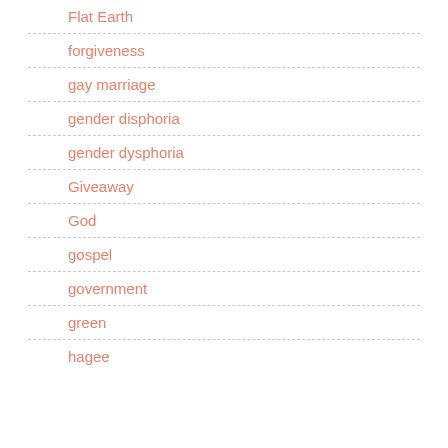Flat Earth
forgiveness
gay marriage
gender disphoria
gender dysphoria
Giveaway
God
gospel
government
green
hagee